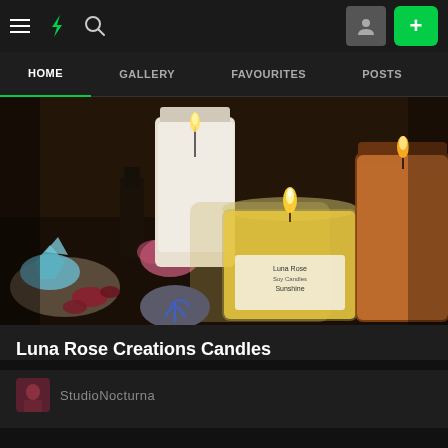[Figure (screenshot): DeviantArt top navigation bar with hamburger menu, lightning bolt logo, search icon, profile button, and green plus button]
HOME   GALLERY   FAVOURITES   POSTS
[Figure (photo): Photo of candles in glass jars with crystals, dried flowers, and a stone with a Reiki symbol. A yellow beeswax candle in the foreground reads Luna Rose Creations Candles Sunshine.]
Luna Rose Creations Candles
StudioNocturna
Group Member  5